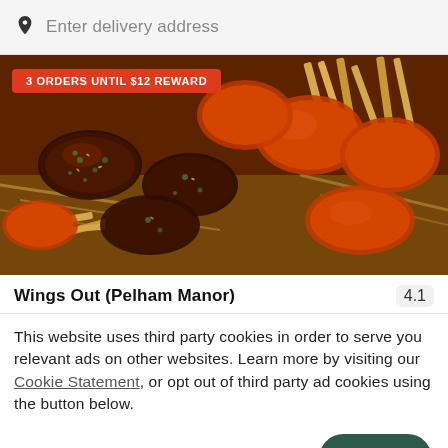Enter delivery address
[Figure (photo): Food photo showing glazed chicken wings with sesame seeds and green herb garnish alongside crispy fries in a dark tray, with a red badge reading '3 ORDERS UNTIL $12 REWARD']
Wings Out (Pelham Manor)
4.1
This website uses third party cookies in order to serve you relevant ads on other websites. Learn more by visiting our Cookie Statement, or opt out of third party ad cookies using the button below.
OPT OUT
GOT IT